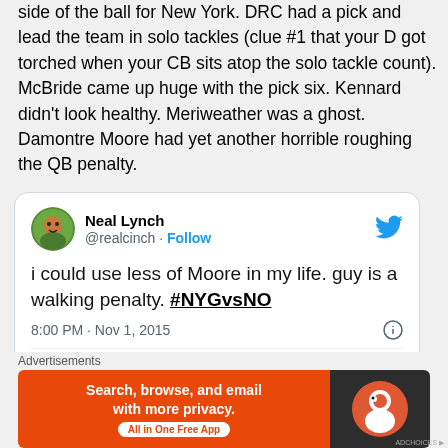side of the ball for New York. DRC had a pick and lead the team in solo tackles (clue #1 that your D got torched when your CB sits atop the solo tackle count). McBride came up huge with the pick six. Kennard didn't look healthy. Meriweather was a ghost. Damontre Moore had yet another horrible roughing the QB penalty.
[Figure (screenshot): Embedded tweet from @realcinch (Neal Lynch) dated 8:00 PM · Nov 1, 2015, reading: 'i could use less of Moore in my life. guy is a walking penalty. #NYGvsNO'. Includes avatar, follow button, Twitter bird logo, like/reply/copy link actions.]
[Figure (screenshot): DuckDuckGo advertisement banner: 'Search, browse, and email with more privacy. All in One Free App' on orange background with DuckDuckGo logo on dark background.]